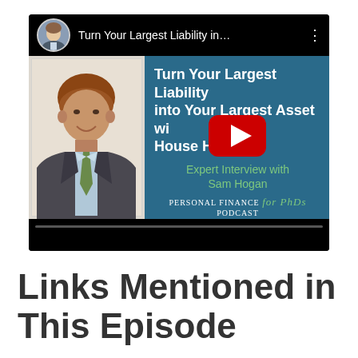[Figure (screenshot): YouTube video thumbnail showing 'Turn Your Largest Liability into Your Largest Asset with House Hacking - Expert Interview with Sam Hogan' on the Personal Finance for PhDs Podcast. A man in a suit with red/auburn hair is pictured on the left side of the thumbnail. A YouTube play button is visible in the center. The top bar shows the video title 'Turn Your Largest Liability in...' with a circular avatar photo of a woman.]
Links Mentioned in This Episode